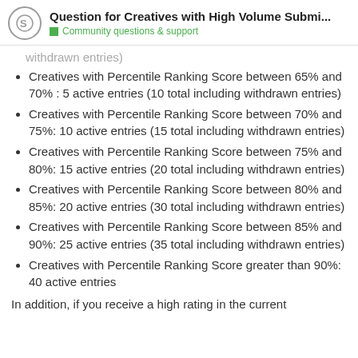Question for Creatives with High Volume Submi... | Community questions & support
withdrawn entries)
Creatives with Percentile Ranking Score between 65% and 70% : 5 active entries (10 total including withdrawn entries)
Creatives with Percentile Ranking Score between 70% and 75%: 10 active entries (15 total including withdrawn entries)
Creatives with Percentile Ranking Score between 75% and 80%: 15 active entries (20 total including withdrawn entries)
Creatives with Percentile Ranking Score between 80% and 85%: 20 active entries (30 total including withdrawn entries)
Creatives with Percentile Ranking Score between 85% and 90%: 25 active entries (35 total including withdrawn entries)
Creatives with Percentile Ranking Score greater than 90%: 40 active entries
In addition, if you receive a high rating in the current